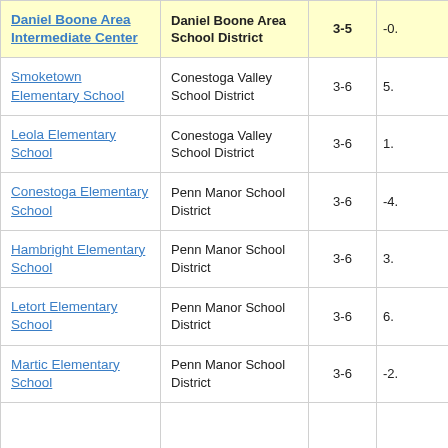| School | District | Grades | Value |
| --- | --- | --- | --- |
| Daniel Boone Area Intermediate Center | Daniel Boone Area School District | 3-5 | -0. |
| Smoketown Elementary School | Conestoga Valley School District | 3-6 | 5. |
| Leola Elementary School | Conestoga Valley School District | 3-6 | 1. |
| Conestoga Elementary School | Penn Manor School District | 3-6 | -4. |
| Hambright Elementary School | Penn Manor School District | 3-6 | 3. |
| Letort Elementary School | Penn Manor School District | 3-6 | 6. |
| Martic Elementary School | Penn Manor School District | 3-6 | -2. |